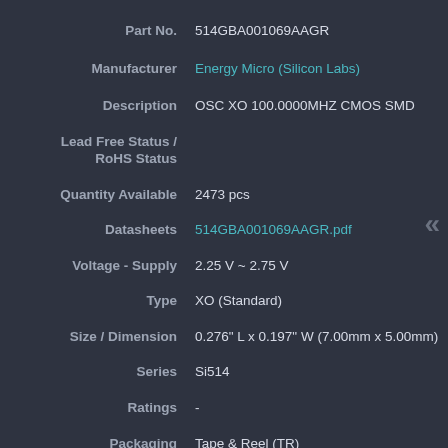| Field | Value |
| --- | --- |
| Part No. | 514GBA001069AAGR |
| Manufacturer | Energy Micro (Silicon Labs) |
| Description | OSC XO 100.0000MHZ CMOS SMD |
| Lead Free Status / RoHS Status |  |
| Quantity Available | 2473 pcs |
| Datasheets | 514GBA001069AAGR.pdf |
| Voltage - Supply | 2.25 V ~ 2.75 V |
| Type | XO (Standard) |
| Size / Dimension | 0.276" L x 0.197" W (7.00mm x 5.00mm) |
| Series | Si514 |
| Ratings | - |
| Packaging | Tape & Reel (TR) |